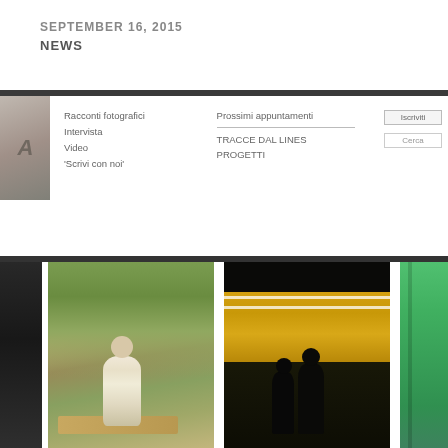SEPTEMBER 16, 2015
NEWS
[Figure (screenshot): Website navigation bar with menu items: Racconti fotografici, Intervista, Video, 'Scrivi con noi', Prossimi appuntamenti, TRACCE DAL LINES, PROGETTI, and a search box and Iscriviti button]
[Figure (photo): Man sitting outdoors in a garden setting with plants and wooden furniture, wearing a white t-shirt]
[Figure (photo): Two silhouetted figures standing on a metro/subway platform with a yellow-lit train passing by]
[Figure (photo): Partial view of a green-tinted interior space]